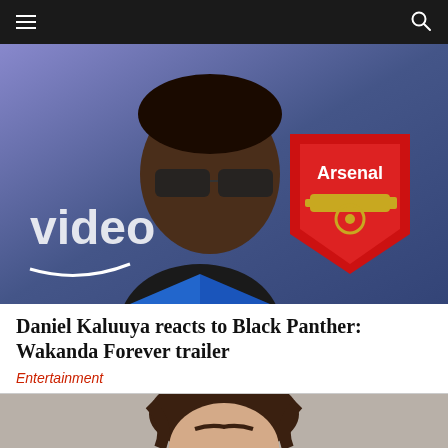Navigation bar with hamburger menu and search icon
[Figure (photo): Daniel Kaluuya wearing sunglasses and a blue blazer over a black shirt, standing in front of Amazon Prime Video branding and an Arsenal football club shield logo]
Daniel Kaluuya reacts to Black Panther: Wakanda Forever trailer
Entertainment
[Figure (photo): Mugshot-style photo of a person with long dark hair against a light grey background]